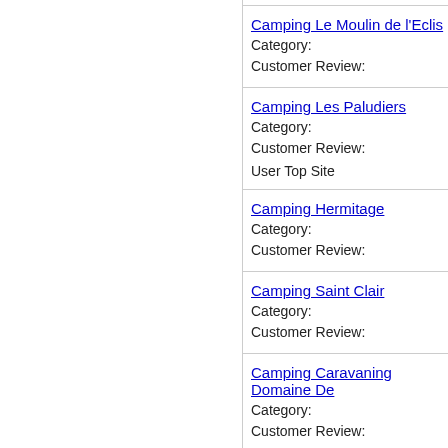Camping Le Moulin de l'Eclis
Category:
Customer Review:
Camping Les Paludiers
Category:
Customer Review:
User Top Site
Camping Hermitage
Category:
Customer Review:
Camping Saint Clair
Category:
Customer Review:
Camping Caravaning Domaine De
Category:
Customer Review: